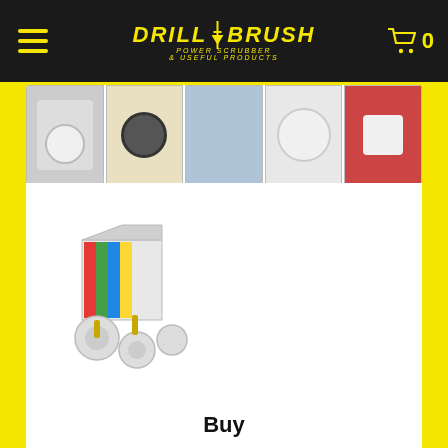DRILL BRUSH POWER SCRUBBER & USEFUL PRODUCTS | Cart: 0
[Figure (photo): Strip of 5 product thumbnail images showing drill brush attachments and cleaning tools]
[Figure (photo): Main product image: Drillbrush 4-piece drill brush kit with box packaging]
| Brand:Drillbrush | UPC:810003601032 |
| ASIN: | SKU:W-4OS-2L-QC-DB |
| Legacy SKU: |  |
Buy